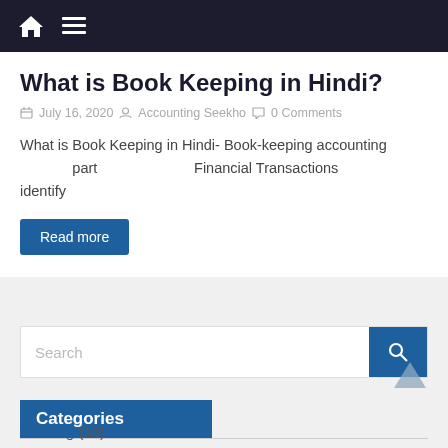Home | Menu
What is Book Keeping in Hindi?
July 16, 2020  Accounting Seekho  0 Comments
What is Book Keeping in Hindi- Book-keeping accounting part                    Financial Transactions identify
Read more
Search
Categories
Auditing (16)